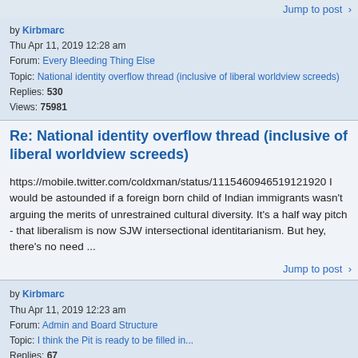Jump to post >
by Kirbmarc
Thu Apr 11, 2019 12:28 am
Forum: Every Bleeding Thing Else
Topic: National identity overflow thread (inclusive of liberal worldview screeds)
Replies: 530
Views: 75981
Re: National identity overflow thread (inclusive of liberal worldview screeds)
https://mobile.twitter.com/coldxman/status/1115460946519121920 I would be astounded if a foreign born child of Indian immigrants wasn't arguing the merits of unrestrained cultural diversity. It's a half way pitch - that liberalism is now SJW intersectional identitarianism. But hey, there's no need ...
Jump to post >
by Kirbmarc
Thu Apr 11, 2019 12:23 am
Forum: Admin and Board Structure
Topic: I think the Pit is ready to be filled in...
Replies: 67
Views: 56042
Re: I think the Pit is ready to be filled in...
So, time to take that old hound for a little walk behind the barn or wait and see if he still has a couple more years left in him.....tough call. What set the Pyt apart was the fact that while in general the folks here believed in the ideals of fairness, equality of opportunity and the right to cho...